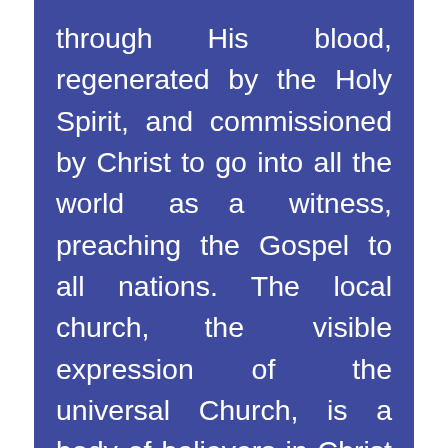through His blood, regenerated by the Holy Spirit, and commissioned by Christ to go into all the world as a witness, preaching the Gospel to all nations. The local church, the visible expression of the universal Church, is a body of believers in Christ who are joined together to worship God, to observe the ordinances of